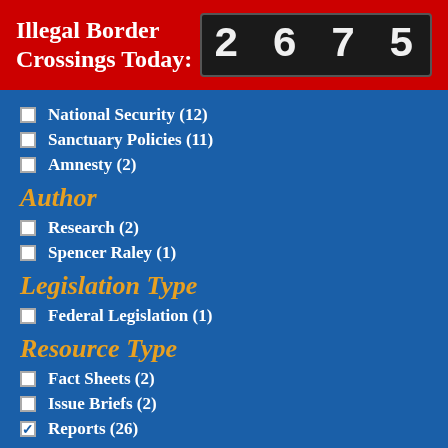Illegal Border Crossings Today: 2675
National Security (12)
Sanctuary Policies (11)
Amnesty (2)
Author
Research (2)
Spencer Raley (1)
Legislation Type
Federal Legislation (1)
Resource Type
Fact Sheets (2)
Issue Briefs (2)
Reports (26)